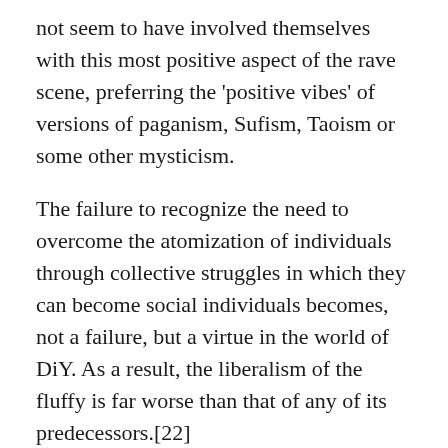not seem to have involved themselves with this most positive aspect of the rave scene, preferring the 'positive vibes' of versions of paganism, Sufism, Taoism or some other mysticism.
The failure to recognize the need to overcome the atomization of individuals through collective struggles in which they can become social individuals becomes, not a failure, but a virtue in the world of DiY. As a result, the liberalism of the fluffy is far worse than that of any of its predecessors.[22]
Fluffy ideologues attempted to police both the reality and the image of the CJB campaign, but certainly didn't have it all their own way. On the final demo against the CJB, in October 1994, conflict between crowd and police generalized such that hundreds if not